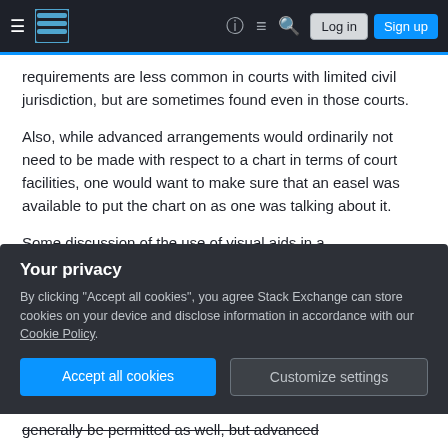Stack Exchange navigation bar with hamburger menu, logo, help, chat, search icons, Log in and Sign up buttons
requirements are less common in courts with limited civil jurisdiction, but are sometimes found even in those courts.
Also, while advanced arrangements would ordinarily not need to be made with respect to a chart in terms of court facilities, one would want to make sure that an easel was available to put the chart on as one was talking about it.
Some discussion of the use of visual aids in a
Your privacy
By clicking "Accept all cookies", you agree Stack Exchange can store cookies on your device and disclose information in accordance with our Cookie Policy.
generally be permitted as well, but advanced
Accept all cookies
Customize settings